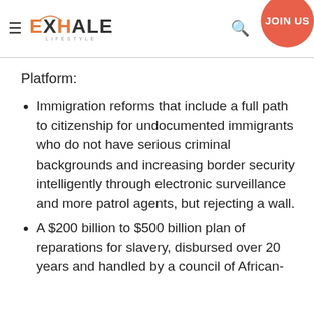EXHALE LIFESTYLE — JOIN US
Platform:
Immigration reforms that include a full path to citizenship for undocumented immigrants who do not have serious criminal backgrounds and increasing border security intelligently through electronic surveillance and more patrol agents, but rejecting a wall.
A $200 billion to $500 billion plan of reparations for slavery, disbursed over 20 years and handled by a council of African-